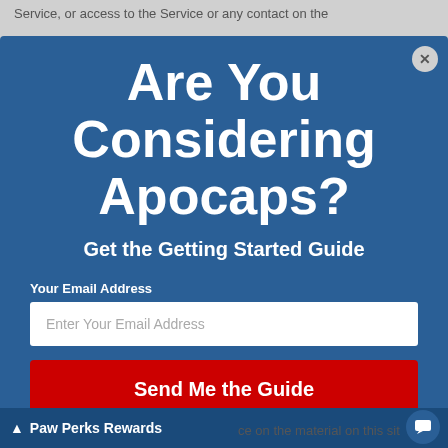Service, or access to the Service or any contact on the
[Figure (screenshot): Modal popup with blue background asking 'Are You Considering Apocaps?' with subtitle 'Get the Getting Started Guide', an email input field, and a red 'Send Me the Guide' button. Has a close (X) button in top right corner.]
Paw Perks Rewards   ce on the material on this sit...